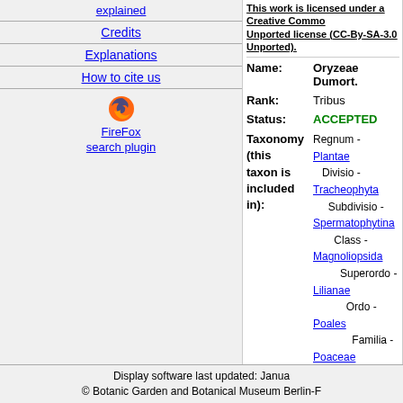explained
Credits
Explanations
How to cite us
[Figure (logo): Firefox logo icon]
FireFox search plugin
This work is licensed under a Creative Commons Unported license (CC-By-SA-3.0 Unported).
Name: Oryzeae Dumort.
Rank: Tribus
Status: ACCEPTED
Taxonomy (this taxon is included in): Regnum - Plantae Divisio - Tracheophyta Subdivisio - Spermatophytina Class - Magnoliopsida Superordo - Lilianae Ordo - Poales Familia - Poaceae Barnhart
Geo-Search: -- select area -- Go
Included taxa: Leersia Sw. Oryza L. Zizania L.
Display software last updated: Janua
© Botanic Garden and Botanical Museum Berlin-F